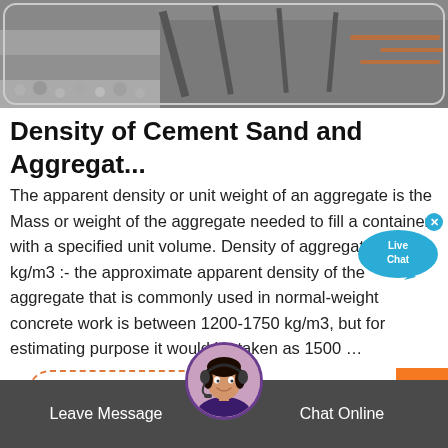[Figure (photo): Construction site with concrete slabs, steel beams and construction equipment in background]
Density of Cement Sand and Aggregat...
The apparent density or unit weight of an aggregate is the Mass or weight of the aggregate needed to fill a container with a specified unit volume. Density of aggregate in kg/m3 :- the approximate apparent density of the aggregate that is commonly used in normal-weight concrete work is between 1200-1750 kg/m3, but for estimating purpose it would be taken as 1500 …
[Figure (other): Live Chat button bubble in blue]
Read More
[Figure (other): Orange scroll-to-top arrow button]
[Figure (photo): Customer service agent avatar - woman with headset]
Leave Message   Chat Online